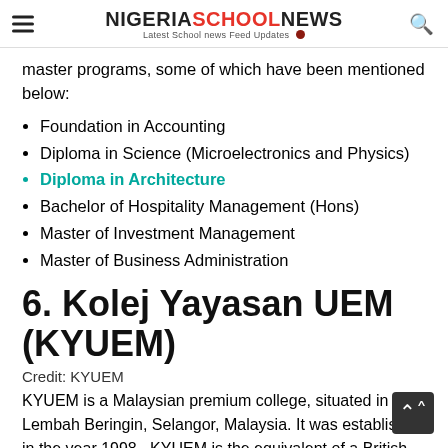NIGERIASCHOOLNEWS — Latest School news Feed Updates
master programs, some of which have been mentioned below:
Foundation in Accounting
Diploma in Science (Microelectronics and Physics)
Diploma in Architecture
Bachelor of Hospitality Management (Hons)
Master of Investment Management
Master of Business Administration
6. Kolej Yayasan UEM (KYUEM)
Credit: KYUEM
KYUEM is a Malaysian premium college, situated in Lembah Beringin, Selangor, Malaysia. It was established in the year 1998.  KYUEM is the equivalent of a British sixth-form co that specializes in university preparation via Cambridge